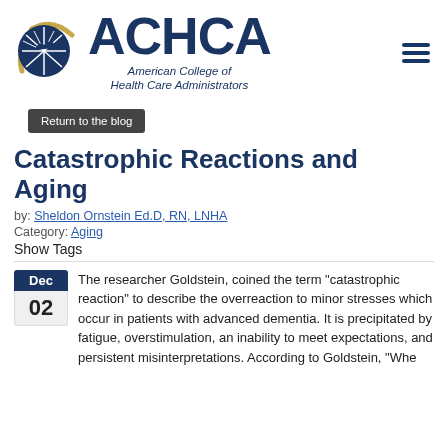[Figure (logo): ACHCA logo: circular emblem with blue and gold design, text ACHCA in large dark blue bold letters, subtitle American College of Health Care Administrators in italic dark blue]
Return to the blog
Catastrophic Reactions and Aging
by: Sheldon Ornstein Ed.D, RN, LNHA
Category: Aging
Show Tags
The researcher Goldstein, coined the term "catastrophic reaction" to describe the overreaction to minor stresses which occur in patients with advanced dementia. It is precipitated by fatigue, overstimulation, an inability to meet expectations, and persistent misinterpretations. According to Goldstein, "Whe...